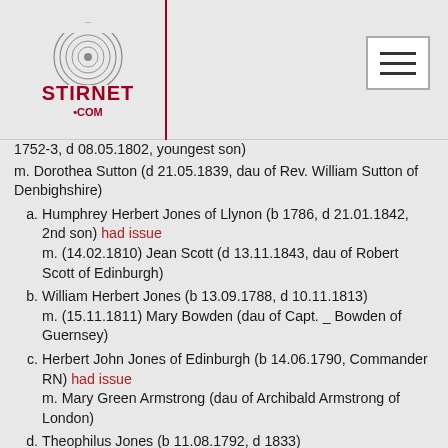Stirnet.com logo and navigation
1752-3, d 08.05.1802, youngest son)
m. Dorothea Sutton (d 21.05.1839, dau of Rev. William Sutton of Denbighshire)
a. Humphrey Herbert Jones of Llynon (b 1786, d 21.01.1842, 2nd son) had issue
m. (14.02.1810) Jean Scott (d 13.11.1843, dau of Robert Scott of Edinburgh)
b. William Herbert Jones (b 13.09.1788, d 10.11.1813)
m. (15.11.1811) Mary Bowden (dau of Capt. _ Bowden of Guernsey)
c. Herbert John Jones of Edinburgh (b 14.06.1790, Commander RN) had issue
m. Mary Green Armstrong (dau of Archibald Armstrong of London)
d. Theophilus Jones (b 11.08.1792, d 1833)
m. (18.03.1819) Elizabeth Nicolas (dau of T. Nicolas of Trenarth)
e. Elizabeth Jones (b 24.01.1749 (! sb 1779?), dsp 23.01.1864)